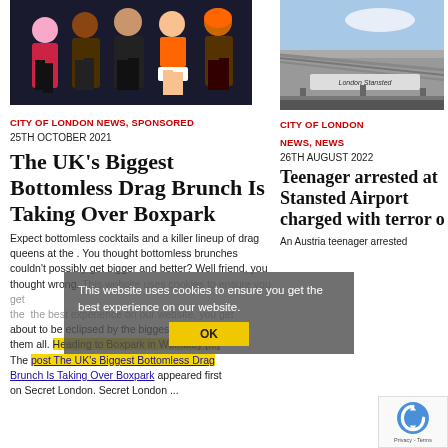[Figure (photo): Group photo of drag queens posing in colorful outfits]
CITY OF LONDON NEWS, SPONSORED
25TH OCTOBER 2021
The UK's Biggest Bottomless Drag Brunch Is Taking Over Boxpark
Expect bottomless cocktails and a killer lineup of drag queens at the . You thought bottomless brunches couldn't possibly get bigger and better? Well friend, you thought wrong. Every brunch you've ever had is about to be eclipsed by the biggest brunch of them all. Heading to Boxpark in Wembley [...] The post The UK's Biggest Bottomless Drag Brunch Is Taking Over Boxpark appeared first on Secret London. Secret London ...
[Figure (photo): Airport building with London Stansted Airport signage]
CITY OF LONDON NEWS, NEWS
26TH AUGUST 2022
Teenager arrested at Stansted Airport charged with terror o
An Austria teenager arrested
This website uses cookies to ensure you get the best experience on our website. OK